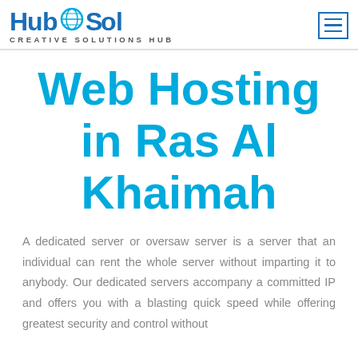[Figure (logo): HubSol Creative Solutions Hub logo with blue text and globe icon]
Web Hosting in Ras Al Khaimah
A dedicated server or oversaw server is a server that an individual can rent the whole server without imparting it to anybody. Our dedicated servers accompany a committed IP and offers you with a blasting quick speed while offering greatest security and control without